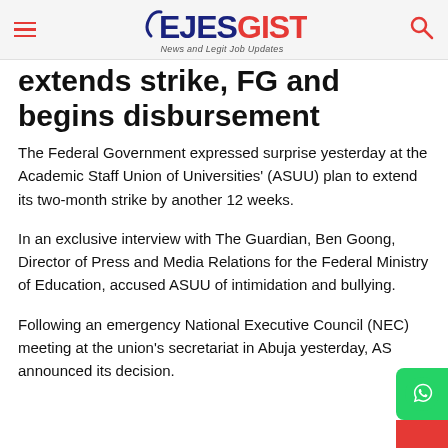EJESGIST - News and Legit Job Updates
extends strike, FG and begins disbursement
The Federal Government expressed surprise yesterday at the Academic Staff Union of Universities' (ASUU) plan to extend its two-month strike by another 12 weeks.
In an exclusive interview with The Guardian, Ben Goong, Director of Press and Media Relations for the Federal Ministry of Education, accused ASUU of intimidation and bullying.
Following an emergency National Executive Council (NEC) meeting at the union's secretariat in Abuja yesterday, ASUU announced its decision.